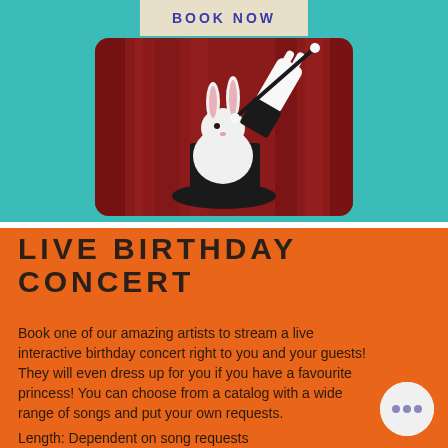[Figure (photo): Magic show photo: white rabbit sitting in a black top hat, with a gloved hand holding a magic wand, against a red curtain background]
LIVE BIRTHDAY CONCERT
Book one of our amazing artists to stream a live interactive birthday concert right to you and your guests! They will even dress up for you if you have a favourite princess! You can choose from a catalog with a wide range of songs and put your own requests.
Length: Dependent on song requests